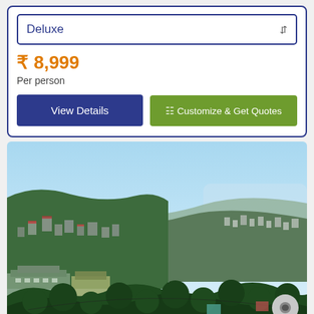Deluxe
₹ 8,999
Per person
View Details
Customize & Get Quotes
[Figure (photo): Aerial view of a hilly town with dense trees, buildings on hillside, and blue sky — likely a hill station in India such as Mussoorie or Darjeeling.]